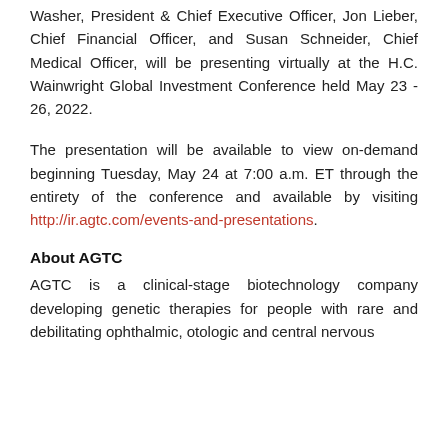Washer, President & Chief Executive Officer, Jon Lieber, Chief Financial Officer, and Susan Schneider, Chief Medical Officer, will be presenting virtually at the H.C. Wainwright Global Investment Conference held May 23 - 26, 2022.
The presentation will be available to view on-demand beginning Tuesday, May 24 at 7:00 a.m. ET through the entirety of the conference and available by visiting http://ir.agtc.com/events-and-presentations.
About AGTC
AGTC is a clinical-stage biotechnology company developing genetic therapies for people with rare and debilitating ophthalmic, otologic and central nervous